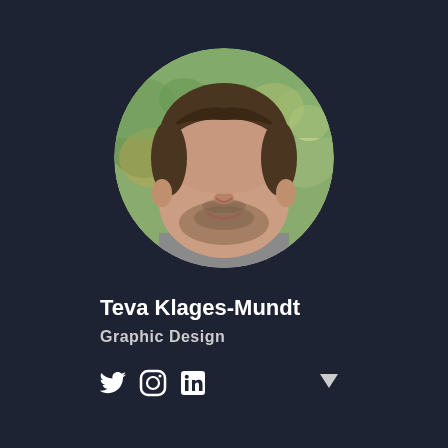[Figure (photo): Circular profile photo of a young man with short brown hair and beard, smiling, wearing a grey shirt, with an outdoor blurred background of green trees and yellow/white lights.]
Teva Klages-Mundt
Graphic Design
[Figure (infographic): Social media icons: Twitter bird icon, Instagram camera icon, LinkedIn 'in' icon, and a dropdown arrow on the right.]